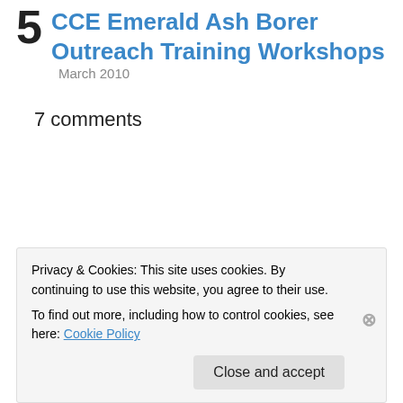5 CCE Emerald Ash Borer Outreach Training Workshops March 2010
7 comments
Share this:
Twitter Facebook
Privacy & Cookies: This site uses cookies. By continuing to use this website, you agree to their use.
To find out more, including how to control cookies, see here: Cookie Policy
Close and accept